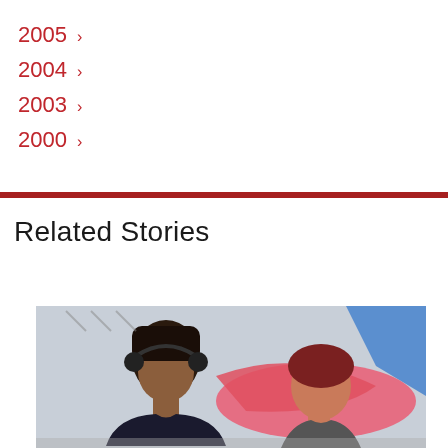2005 ›
2004 ›
2003 ›
2000 ›
Related Stories
[Figure (photo): Two women, one with braids wearing a headset, seated in front of colorful abstract background with blue, pink, and red shapes.]